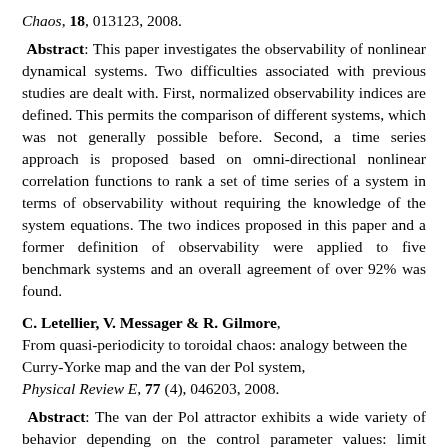Chaos, 18, 013123, 2008.
Abstract: This paper investigates the observability of nonlinear dynamical systems. Two difficulties associated with previous studies are dealt with. First, normalized observability indices are defined. This permits the comparison of different systems, which was not generally possible before. Second, a time series approach is proposed based on omni-directional nonlinear correlation functions to rank a set of time series of a system in terms of observability without requiring the knowledge of the system equations. The two indices proposed in this paper and a former definition of observability were applied to five benchmark systems and an overall agreement of over 92% was found.
C. Letellier, V. Messager & R. Gilmore, From quasi-periodicity to toroidal chaos: analogy between the Curry-Yorke map and the van der Pol system, Physical Review E, 77 (4), 046203, 2008.
Abstract: The van der Pol attractor exhibits a wide variety of behavior depending on the control parameter values: limit cycles, quasiperiodic motion...